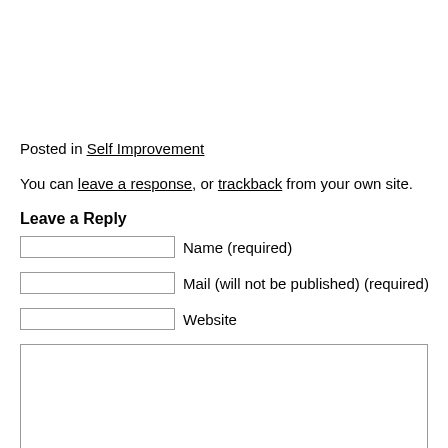Posted in Self Improvement
You can leave a response, or trackback from your own site.
Leave a Reply
Name (required)
Mail (will not be published) (required)
Website